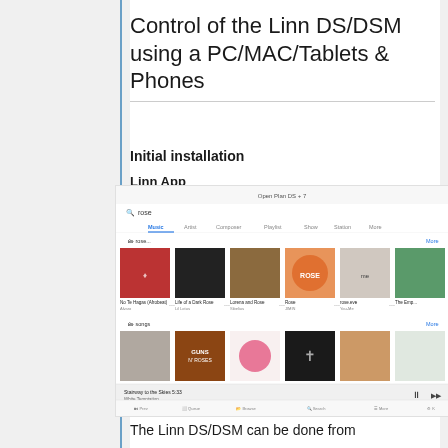Control of the Linn DS/DSM using a PC/MAC/Tablets & Phones
Initial installation
Linn App
[Figure (screenshot): Screenshot of the Linn App showing a search for 'rose', with album art results including albums by various artists in rows, and a now-playing bar at the bottom showing 'Stairway to the Skies' by White Temptation.]
The Linn DS/DSM can be done from